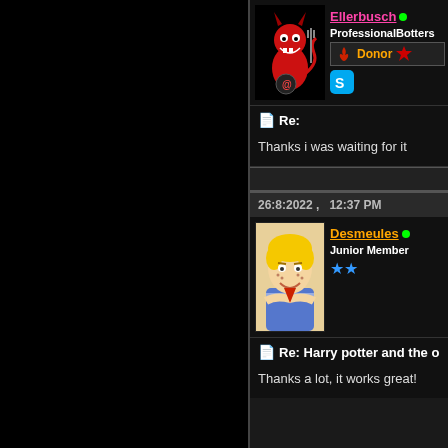[Figure (illustration): Red devil cartoon avatar for user Ellerbusch]
Ellerbusch • ProfessionalBotters Donor
[Figure (other): Skype icon]
Re:
Thanks i was waiting for it
26:8:2022 ,   12:37 PM
[Figure (illustration): Blonde cartoon boy avatar for user Desmeules]
Desmeules • Junior Member
Re: Harry potter and the o
Thanks a lot, it works great!